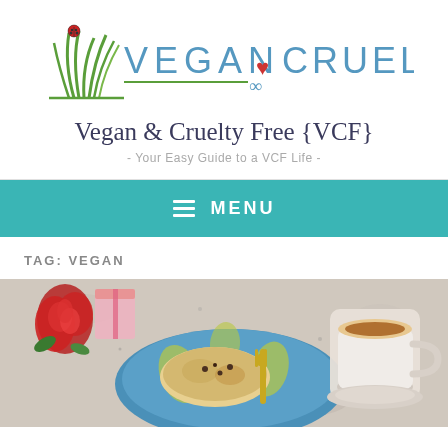[Figure (logo): Vegan & Cruelty Free logo with green grass/plant illustration and infinity heart symbol]
Vegan & Cruelty Free {VCF}
- Your Easy Guide to a VCF Life -
≡ MENU
TAG: VEGAN
[Figure (photo): Photo of a decorative blue and yellow paisley plate with scone/baked good and gold fork, a cup of coffee/latte, and red roses on a granite countertop]